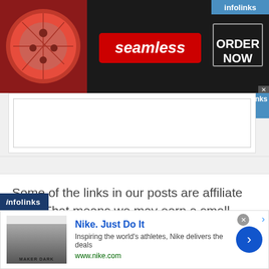[Figure (screenshot): Seamless food delivery advertisement banner with pizza image, red 'seamless' logo, and 'ORDER NOW' button on dark background. Infolinks badge in top right.]
[Figure (screenshot): Empty white text area / form input box]
Some of the links in our posts are affiliate links. That means we may earn a small amount when you make a purchase via our links – at no extra cost to you. This helps us to keep the site running. Our thanks to you!
[Figure (screenshot): Infolinks bar with Nike advertisement: 'Nike. Just Do It' — Inspiring the world's athletes, Nike delivers the deals. www.nike.com. Blue circular arrow button on right. Close X button top right.]